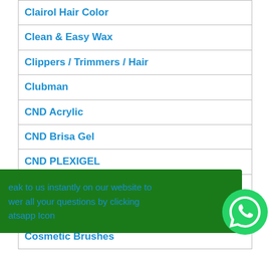| Clairol Hair Color |
| Clean & Easy Wax |
| Clippers / Trimmers / Hair |
| Clubman |
| CND Acrylic |
| CND Brisa Gel |
| CND PLEXIGEL |
| CND Spa Manicure & Pedicure |
| Coste... |
| Cosmetic Brushes |
eak to us instantly on our website to wer all your questions by clicking atsapp Icon